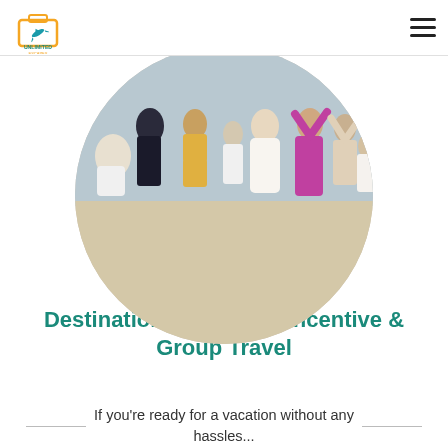Unlimited Escapes [logo]
[Figure (photo): Circular cropped photo of a wedding group on a beach, showing multiple adults and children in festive attire standing together on sand]
Destination Weddings, Incentive & Group Travel
If you're ready for a vacation without any hassles...